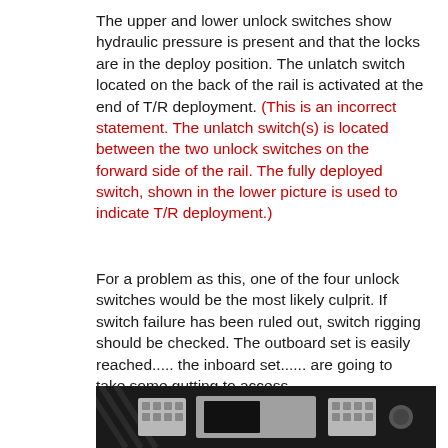The upper and lower unlock switches show hydraulic pressure is present and that the locks are in the deploy position. The unlatch switch located on the back of the rail is activated at the end of T/R deployment. (This is an incorrect statement. The unlatch switch(s) is located between the two unlock switches on the forward side of the rail. The fully deployed switch, shown in the lower picture is used to indicate T/R deployment.)
For a problem as this, one of the four unlock switches would be the most likely culprit. If switch failure has been ruled out, switch rigging should be checked. The outboard set is easily reached..... the inboard set...... are going to take some gutting to access.
Cessna recommended working the throttle laterally to verify if the quadrant switches are not faulted.
[Figure (photo): Photograph of aircraft panel/control equipment with buttons and a screen, shown against a dark background with diagonal striping visible on edges.]